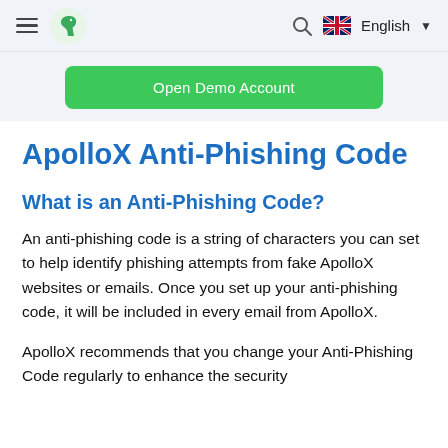≡ [logo] [search] 🇬🇧 English ▼
Open Demo Account
ApolloX Anti-Phishing Code
What is an Anti-Phishing Code?
An anti-phishing code is a string of characters you can set to help identify phishing attempts from fake ApolloX websites or emails. Once you set up your anti-phishing code, it will be included in every email from ApolloX.
ApolloX recommends that you change your Anti-Phishing Code regularly to enhance the security